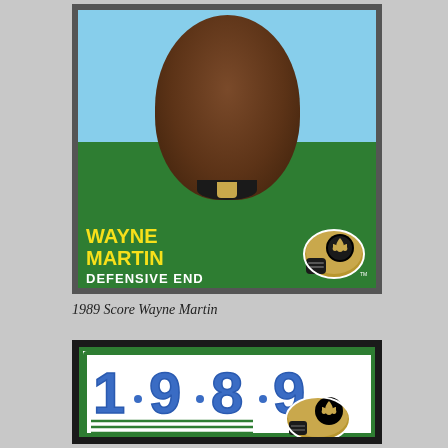[Figure (photo): 1989 Score football card of Wayne Martin, Defensive End for the New Orleans Saints. Green card with player headshot photo against blue background, yellow text name, white position text, and Saints helmet logo.]
1989 Score Wayne Martin
[Figure (photo): 1989 Score football card back/header showing large blue '1989' numerals with bullet separators, green border, horizontal green lines, and New Orleans Saints gold helmet logo in center.]